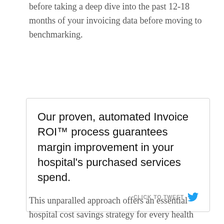before taking a deep dive into the past 12-18 months of your invoicing data before moving to benchmarking.
Our proven, automated Invoice ROI™ process guarantees margin improvement in your hospital's purchased services spend.
This unparalled approach offers an essential hospital cost savings strategy for every health system.